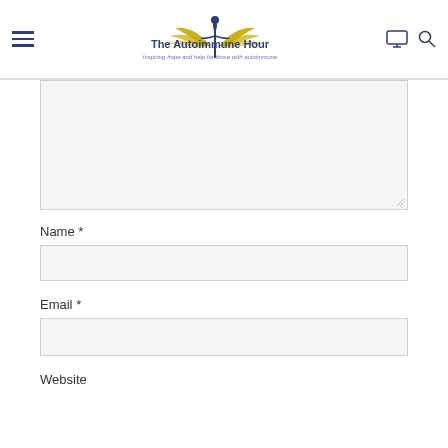The Autoimmune Hour — Inspiring hope and help for those with autoimmune
[Figure (screenshot): Large comment textarea input field with resize handle at bottom right]
Name *
[Figure (screenshot): Name text input field]
Email *
[Figure (screenshot): Email text input field]
Website